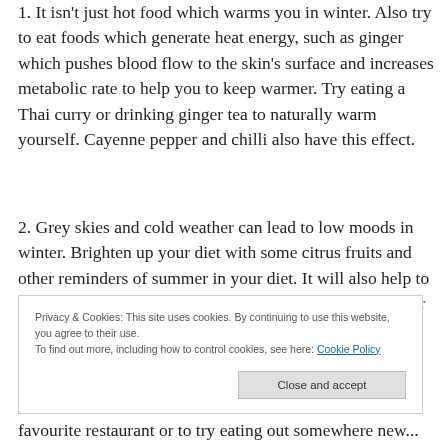1. It isn't just hot food which warms you in winter. Also try to eat foods which generate heat energy, such as ginger which pushes blood flow to the skin's surface and increases metabolic rate to help you to keep warmer. Try eating a Thai curry or drinking ginger tea to naturally warm yourself. Cayenne pepper and chilli also have this effect.
2. Grey skies and cold weather can lead to low moods in winter. Brighten up your diet with some citrus fruits and other reminders of summer in your diet. It will also help to boost the level of vitamin C in your diet which is great for fighting off the winter colds and flu...
Privacy & Cookies: This site uses cookies. By continuing to use this website, you agree to their use. To find out more, including how to control cookies, see here: Cookie Policy
favourite restaurant or to try eating out somewhere new...